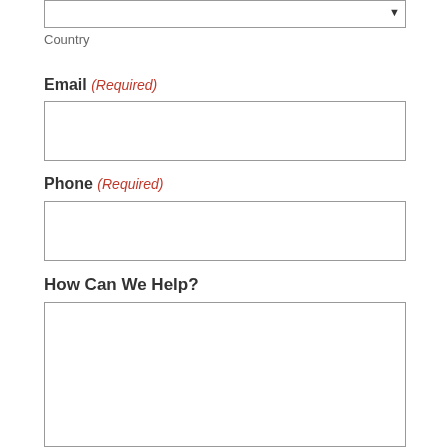Country
Email (Required)
Phone (Required)
How Can We Help?